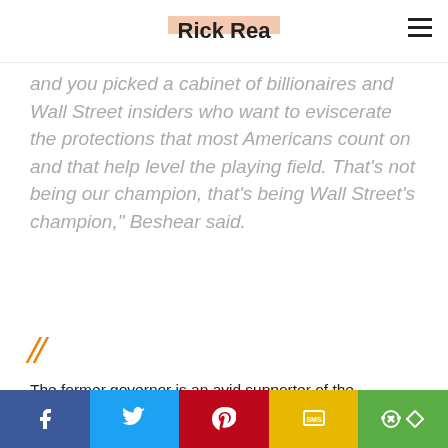Rick Rea
and you picked a cabinet of billionaires and Wall Street insiders who want to eviscerate the protections that most Americans count on and that help level the playing field. That's not being our champion, that's being Wall Street's champion," Beshear said.
[Figure (illustration): Orange double quotation mark decorative icon]
The former governor is an avid supporter of the Affordable Care Act who rallied around its cause after condemning the Trump administration's efforts